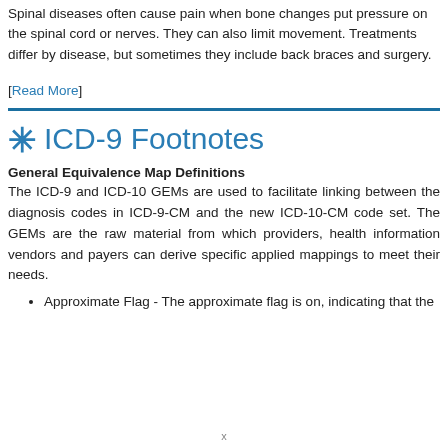Spinal diseases often cause pain when bone changes put pressure on the spinal cord or nerves. They can also limit movement. Treatments differ by disease, but sometimes they include back braces and surgery.
[Read More]
ICD-9 Footnotes
General Equivalence Map Definitions
The ICD-9 and ICD-10 GEMs are used to facilitate linking between the diagnosis codes in ICD-9-CM and the new ICD-10-CM code set. The GEMs are the raw material from which providers, health information vendors and payers can derive specific applied mappings to meet their needs.
Approximate Flag - The approximate flag is on, indicating that the